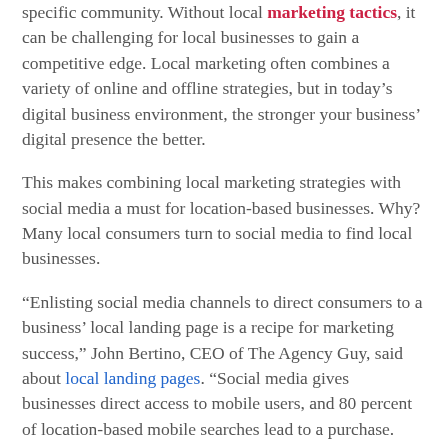specific community. Without local marketing tactics, it can be challenging for local businesses to gain a competitive edge. Local marketing often combines a variety of online and offline strategies, but in today's digital business environment, the stronger your business' digital presence the better.
This makes combining local marketing strategies with social media a must for location-based businesses. Why? Many local consumers turn to social media to find local businesses.
“Enlisting social media channels to direct consumers to a business’ local landing page is a recipe for marketing success,” John Bertino, CEO of The Agency Guy, said about local landing pages. “Social media gives businesses direct access to mobile users, and 80 percent of location-based mobile searches lead to a purchase. Give consumers a place to land.”